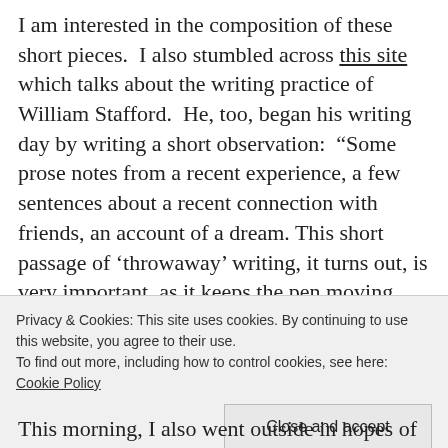I am interested in the composition of these short pieces.  I also stumbled across this site which talks about the writing practice of William Stafford.  He, too, began his writing day by writing a short observation:  "Some prose notes from a recent experience, a few sentences about a recent connection with friends, an account of a dream. This short passage of 'throwaway' writing, it turns out, is very important, as it keeps the pen moving and gets the mind sniffing along through
Privacy & Cookies: This site uses cookies. By continuing to use this website, you agree to their use.
To find out more, including how to control cookies, see here: Cookie Policy
Close and accept
This morning, I also went outside in hopes of